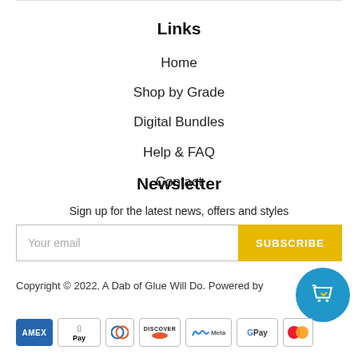Links
Home
Shop by Grade
Digital Bundles
Help & FAQ
Contact
Newsletter
Sign up for the latest news, offers and styles
Your email
SUBSCRIBE
Copyright © 2022, A Dab of Glue Will Do. Powered by
[Figure (illustration): Payment method icons: Amex, Apple Pay, Diners Club, Discover, Meta Pay, Google Pay, Mastercard]